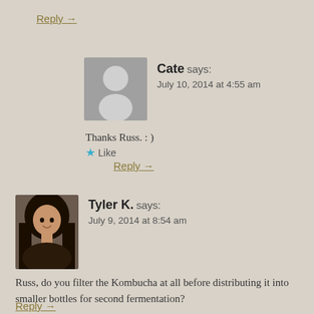Reply →
[Figure (illustration): Generic grey avatar placeholder silhouette for user Cate]
Cate says:
July 10, 2014 at 4:55 am
Thanks Russ. : )
★ Like
Reply →
[Figure (photo): Profile photo of Tyler K., a woman with long dark hair, smiling]
Tyler K. says:
July 9, 2014 at 8:54 am
Russ, do you filter the Kombucha at all before distributing it into smaller bottles for second fermentation?
★ Like
Reply →